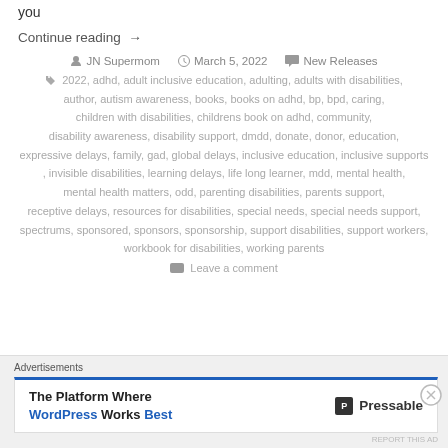you
Continue reading →
JN Supermom   March 5, 2022   New Releases
2022, adhd, adult inclusive education, adulting, adults with disabilities, author, autism awareness, books, books on adhd, bp, bpd, caring, children with disabilities, childrens book on adhd, community, disability awareness, disability support, dmdd, donate, donor, education, expressive delays, family, gad, global delays, inclusive education, inclusive supports, invisible disabilities, learning delays, life long learner, mdd, mental health, mental health matters, odd, parenting disabilities, parents support, receptive delays, resources for disabilities, special needs, special needs support, spectrums, sponsored, sponsors, sponsorship, support disabilities, support workers, workbook for disabilities, working parents
Leave a comment
Advertisements
The Platform Where WordPress Works Best   Pressable